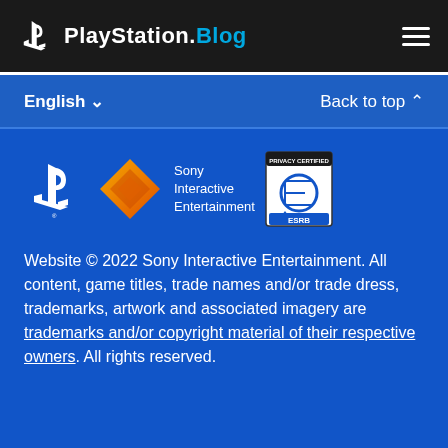PlayStation.Blog
English ∨
Back to top ∧
[Figure (logo): PlayStation logo, Sony Interactive Entertainment diamond logo with text, ESRB Privacy Certified badge]
Website © 2022 Sony Interactive Entertainment. All content, game titles, trade names and/or trade dress, trademarks, artwork and associated imagery are trademarks and/or copyright material of their respective owners. All rights reserved.